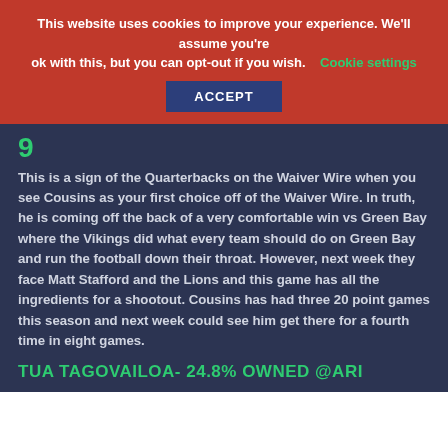This website uses cookies to improve your experience. We'll assume you're ok with this, but you can opt-out if you wish. Cookie settings
ACCEPT
9
This is a sign of the Quarterbacks on the Waiver Wire when you see Cousins as your first choice off of the Waiver Wire. In truth, he is coming off the back of a very comfortable win vs Green Bay where the Vikings did what every team should do on Green Bay and run the football down their throat. However, next week they face Matt Stafford and the Lions and this game has all the ingredients for a shootout. Cousins has had three 20 point games this season and next week could see him get there for a fourth time in eight games.
TUA TAGOVAILOA- 24.8% OWNED @ARI